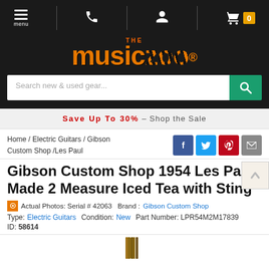The Music Zoo - navigation header with menu, phone, account, and cart icons
[Figure (logo): The Music Zoo logo with orange and zebra-stripe lettering on dark background]
Search new & used gear...
Save Up To 30% - Shop the Sale
Home / Electric Guitars / Gibson Custom Shop /Les Paul
Gibson Custom Shop 1954 Les Paul Made 2 Measure Iced Tea with Sting
Actual Photos: Serial # 42063   Brand : Gibson Custom Shop
Type: Electric Guitars   Condition: New   Part Number: LPR54M2M17839
ID: 58614
[Figure (photo): Partial view of a Gibson Les Paul guitar body at the bottom of the page]